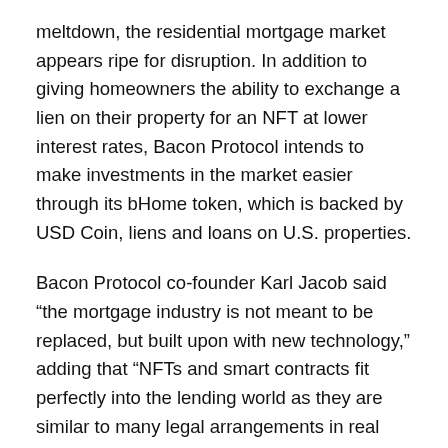meltdown, the residential mortgage market appears ripe for disruption. In addition to giving homeowners the ability to exchange a lien on their property for an NFT at lower interest rates, Bacon Protocol intends to make investments in the market easier through its bHome token, which is backed by USD Coin, liens and loans on U.S. properties.
Bacon Protocol co-founder Karl Jacob said “the mortgage industry is not meant to be replaced, but built upon with new technology,” adding that “NFTs and smart contracts fit perfectly into the lending world as they are similar to many legal arrangements in real estate, with upgraded technology and features.”